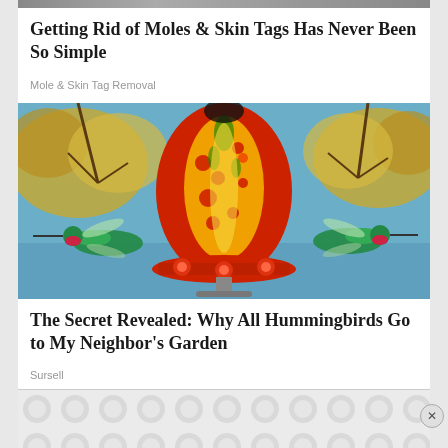[Figure (photo): Partial top image strip visible at very top of page]
Getting Rid of Moles & Skin Tags Has Never Been So Simple
Mole & Skin Tag Removal
[Figure (photo): Photo of a colorful red and yellow glass hummingbird feeder shaped like an egg, with two hummingbirds hovering on each side, set against autumn trees and blue sky background]
The Secret Revealed: Why All Hummingbirds Go to My Neighbor's Garden
Sursell
[Figure (other): Advertisement banner with grey circular dot pattern]